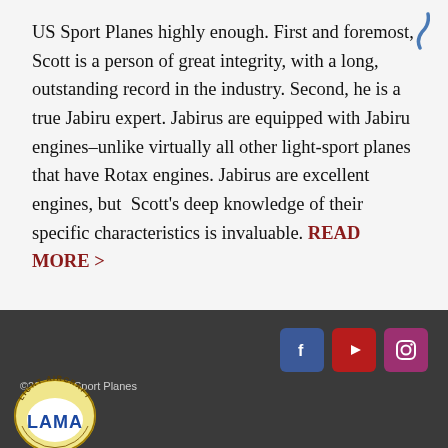US Sport Planes highly enough. First and foremost, Scott is a person of great integrity, with a long, outstanding record in the industry. Second, he is a true Jabiru expert. Jabirus are equipped with Jabiru engines–unlike virtually all other light-sport planes that have Rotax engines. Jabirus are excellent engines, but Scott's deep knowledge of their specific characteristics is invaluable. READ MORE >
©2022 US Sport Planes
[Figure (logo): LAMA Light Aircraft Manufacturers Association circular badge logo with gold/cream background and blue LAMA text]